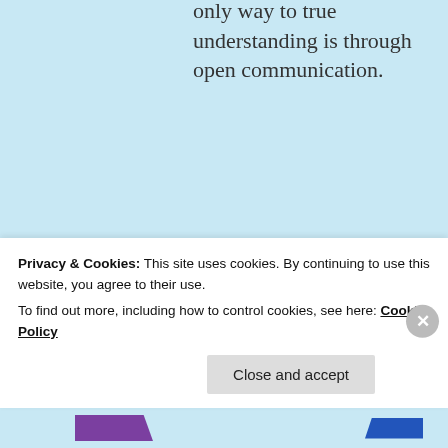only way to true understanding is through open communication.
★ Liked by 2 people
[Figure (illustration): Avatar illustration of a woman with curly hair, circular profile photo]
betteroffwith
Privacy & Cookies: This site uses cookies. By continuing to use this website, you agree to their use.
To find out more, including how to control cookies, see here: Cookie Policy
Close and accept